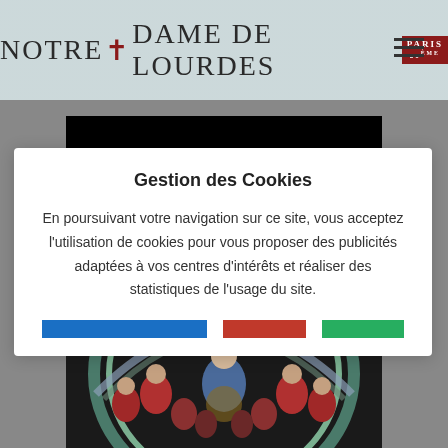NOTRE+DAME DE LOURDES PARIS 20ème
[Figure (screenshot): Black video placeholder rectangle]
Gestion des Cookies
En poursuivant votre navigation sur ce site, vous acceptez l'utilisation de cookies pour vous proposer des publicités adaptées à vos centres d'intérêts et réaliser des statistiques de l'usage du site.
[Figure (illustration): Religious painting showing figures in a circular composition with red-clad angels and a central figure in blue robes]